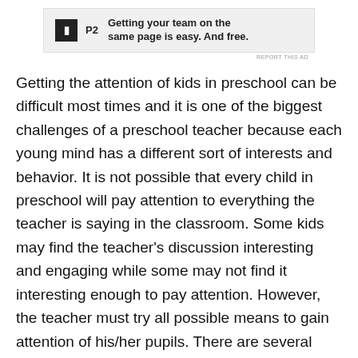[Figure (other): Advertisement banner for P2 service with logo and tagline 'Getting your team on the same page is easy. And free.']
Getting the attention of kids in preschool can be difficult most times and it is one of the biggest challenges of a preschool teacher because each young mind has a different sort of interests and behavior. It is not possible that every child in preschool will pay attention to everything the teacher is saying in the classroom. Some kids may find the teacher's discussion interesting and engaging while some may not find it interesting enough to pay attention. However, the teacher must try all possible means to gain attention of his/her pupils. There are several techniques preschool teachers can use to gain the attention of preschoolers.
Maintaining eye contact with children while teaching is a